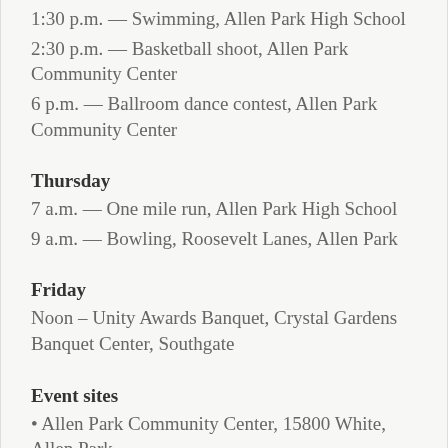1:30 p.m. — Swimming, Allen Park High School
2:30 p.m. — Basketball shoot, Allen Park Community Center
6 p.m. — Ballroom dance contest, Allen Park Community Center
Thursday
7 a.m. — One mile run, Allen Park High School
9 a.m. — Bowling, Roosevelt Lanes, Allen Park
Friday
Noon – Unity Awards Banquet, Crystal Gardens Banquet Center, Southgate
Event sites
• Allen Park Community Center, 15800 White, Allen Park